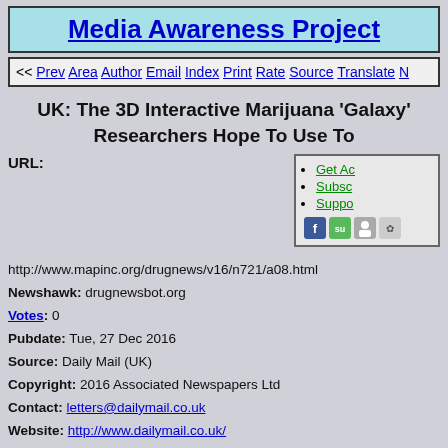Media Awareness Project
<< Prev Area Author Email Index Print Rate Source Translate N
UK: The 3D Interactive Marijuana 'Galaxy' Researchers Hope To Use To
URL:
Get Ac
Subsc
Suppo
http://www.mapinc.org/drugnews/v16/n721/a08.html
Newshawk: drugnewsbot.org
Votes: 0
Pubdate: Tue, 27 Dec 2016
Source: Daily Mail (UK)
Copyright: 2016 Associated Newspapers Ltd
Contact: letters@dailymail.co.uk
Website: http://www.dailymail.co.uk/
Details: http://www.mapinc.org/media/108